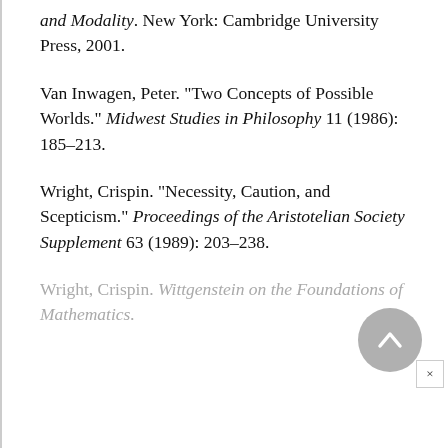and Modality. New York: Cambridge University Press, 2001.
Van Inwagen, Peter. "Two Concepts of Possible Worlds." Midwest Studies in Philosophy 11 (1986): 185–213.
Wright, Crispin. "Necessity, Caution, and Scepticism." Proceedings of the Aristotelian Society Supplement 63 (1989): 203–238.
Wright, Crispin. Wittgenstein on the Foundations of Mathematics.